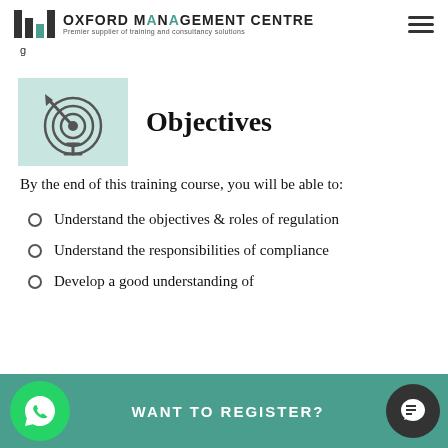OXFORD MANAGEMENT CENTRE — Premier supplier of training and consultancy solutions
g
[Figure (illustration): Target/bullseye icon with arrow on light green background, representing objectives]
Objectives
By the end of this training course, you will be able to:
Understand the objectives & roles of regulation
Understand the responsibilities of compliance
Develop a good understanding of
WANT TO REGISTER?